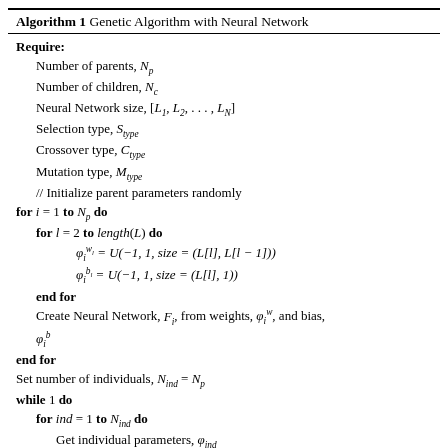Algorithm 1 Genetic Algorithm with Neural Network
Require: Number of parents, N_p; Number of children, N_c; Neural Network size, [L_1, L_2, ..., L_N]; Selection type, S_type; Crossover type, C_type; Mutation type, M_type; // Initialize parent parameters randomly; for i=1 to N_p do; for l=2 to length(L) do; phi_i^{w_l} = U(-1,1,size=(L[l],L[l-1])); phi_i^{b_l} = U(-1,1,size=(L[l],1)); end for; Create Neural Network, F_i, from weights, phi_i^w, and bias, phi_i^b; end for; Set number of individuals, N_ind = N_p; while 1 do; for ind=1 to N_ind do; Get individual parameters, phi_ind; while alive(ind) do